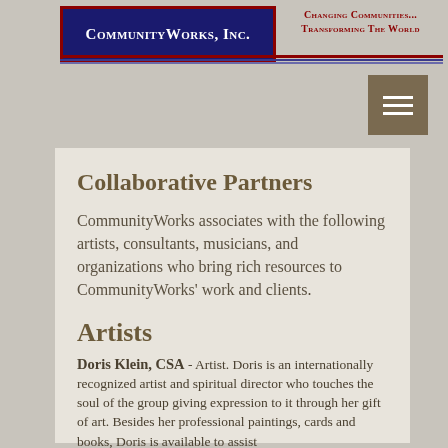CommunityWorks, Inc. — Changing Communities... Transforming The World
Collaborative Partners
CommunityWorks associates with the following artists, consultants, musicians, and organizations who bring rich resources to CommunityWorks' work and clients.
Artists
Doris Klein, CSA - Artist. Doris is an internationally recognized artist and spiritual director who touches the soul of the group giving expression to it through her gift of art. Besides her professional paintings, cards and books, Doris is available to assist